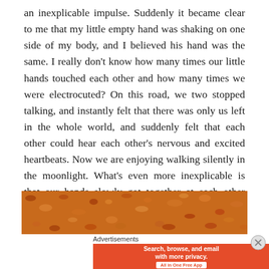an inexplicable impulse. Suddenly it became clear to me that my little empty hand was shaking on one side of my body, and I believed his hand was the same. I really don't know how many times our little hands touched each other and how many times we were electrocuted? On this road, we two stopped talking, and instantly felt that there was only us left in the whole world, and suddenly felt that each other could hear each other's nervous and excited heartbeats. Now we are enjoying walking silently in the moonlight. What's even more inexplicable is that our hands slowly got together at each other without knowing when they started.
[Figure (photo): A close-up photograph of granola or crushed oats/nuts with warm brown and orange tones]
Advertisements
[Figure (screenshot): DuckDuckGo advertisement banner: orange left panel with text 'Search, browse, and email with more privacy. All in One Free App' and dark right panel with DuckDuckGo logo and name]